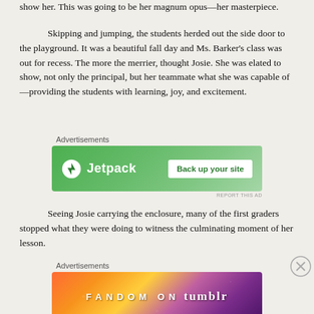show her. This was going to be her magnum opus—her masterpiece.
Skipping and jumping, the students herded out the side door to the playground. It was a beautiful fall day and Ms. Barker's class was out for recess. The more the merrier, thought Josie. She was elated to show, not only the principal, but her teammate what she was capable of—providing the students with learning, joy, and excitement.
[Figure (screenshot): Jetpack advertisement banner: green background with Jetpack logo and 'Back up your site' button]
Seeing Josie carrying the enclosure, many of the first graders stopped what they were doing to witness the culminating moment of her lesson.
[Figure (screenshot): Fandom on Tumblr advertisement banner with colorful gradient background]